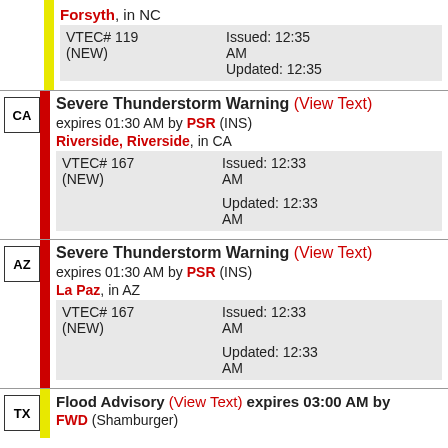Forsyth, in NC — VTEC# 119 (NEW) Issued: 12:35 AM Updated: 12:35 AM
CA — Severe Thunderstorm Warning (View Text) expires 01:30 AM by PSR (INS) — Riverside, Riverside, in CA — VTEC# 167 (NEW) Issued: 12:33 AM Updated: 12:33 AM
AZ — Severe Thunderstorm Warning (View Text) expires 01:30 AM by PSR (INS) — La Paz, in AZ — VTEC# 167 (NEW) Issued: 12:33 AM Updated: 12:33 AM
TX — Flood Advisory (View Text) expires 03:00 AM by FWD (Shamburger)